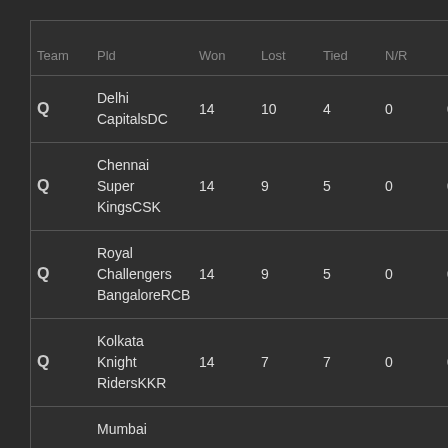| Team | Pld | Won | Lost | Tied | N/R | Net RR | Fo... |
| --- | --- | --- | --- | --- | --- | --- | --- |
| Q | Delhi CapitalsDC | 14 | 10 | 4 | 0 | 0 | +0... |
| Q | Chennai Super KingsCSK | 14 | 9 | 5 | 0 | 0 | +0... |
| Q | Royal Challengers BangaloreRCB | 14 | 9 | 5 | 0 | 0 | -0... |
| Q | Kolkata Knight RidersKKR | 14 | 7 | 7 | 0 | 0 | +0... |
|  | Mumbai... |  |  |  |  |  |  |